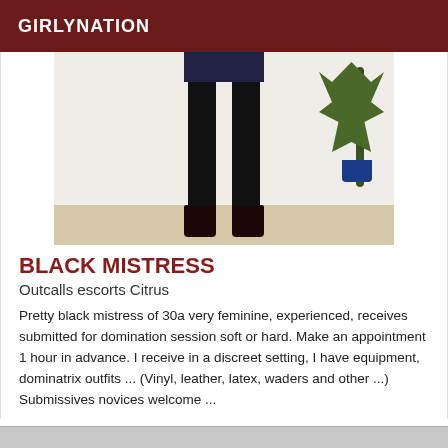GIRLYNATION
[Figure (photo): Photo showing legs in black stockings and high heels with a plant visible in the background]
BLACK MISTRESS
Outcalls escorts Citrus
Pretty black mistress of 30a very feminine, experienced, receives submitted for domination session soft or hard. Make an appointment 1 hour in advance. I receive in a discreet setting, I have equipment, dominatrix outfits ... (Vinyl, leather, latex, waders and other ...) Submissives novices welcome ...